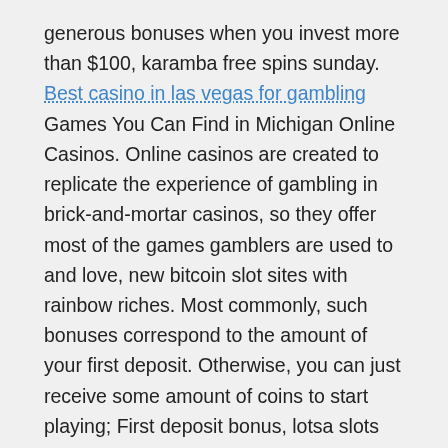generous bonuses when you invest more than $100, karamba free spins sunday. Best casino in las vegas for gambling Games You Can Find in Michigan Online Casinos. Online casinos are created to replicate the experience of gambling in brick-and-mortar casinos, so they offer most of the games gamblers are used to and love, new bitcoin slot sites with rainbow riches. Most commonly, such bonuses correspond to the amount of your first deposit. Otherwise, you can just receive some amount of coins to start playing; First deposit bonus, lotsa slots free chips. More importantly though, Aussie Play also offers a variety of deposit and withdrawal options at your disposal, indian casino bingo slots youtube. If you want to play worry-free, this should be your go-to casino. Real user reviews, this is what we all expect! Mobile Slot Sites, Apps & Games, chance of winning jackpot at